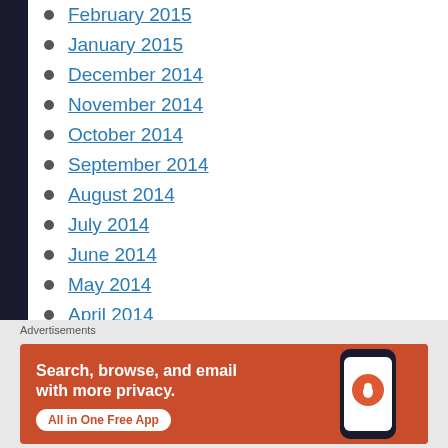February 2015
January 2015
December 2014
November 2014
October 2014
September 2014
August 2014
July 2014
June 2014
May 2014
April 2014
March 2014
[Figure (screenshot): DuckDuckGo advertisement banner: orange background, text 'Search, browse, and email with more privacy. All in One Free App' with phone showing DuckDuckGo logo]